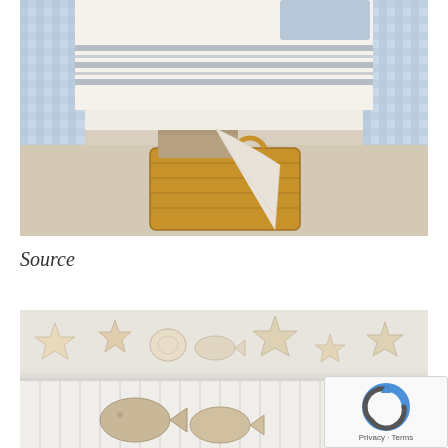[Figure (photo): Bedroom scene with blue-and-white gingham curtains, striped white bedding, and a wicker basket containing folded tan and white blankets on a neutral carpet floor.]
Source
[Figure (photo): Coastal/beach-themed interior showing white beadboard wainscoting with starfish, sand dollars, and sea creature decorations arranged along a shelf. A reCAPTCHA widget overlays the bottom-right corner showing the reCAPTCHA logo and 'Privacy - Terms' text.]